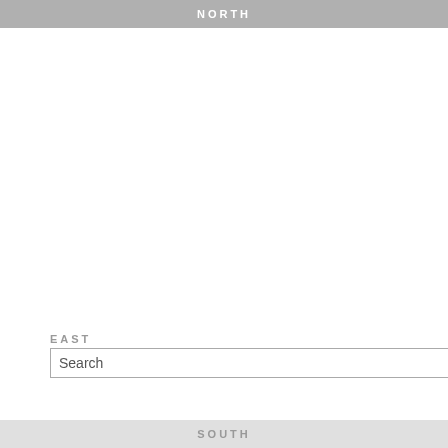NORTH
one pic #9 Bender
29 July 2014 - art, exhibition, installa
one pic #7 Boschung
27 July 2014 - art, exhibition, installa
one pic #1
14 July 2014 - art, exhibition, installa
EAST
WEST
Search
wfw weeken
SOUTH